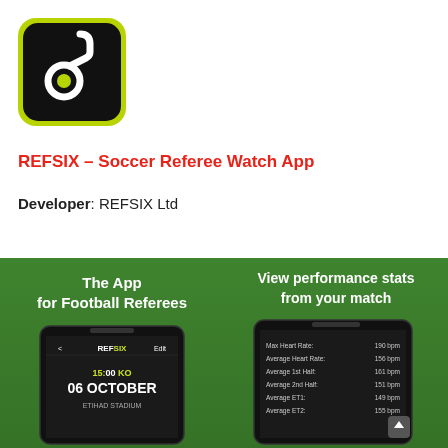[Figure (logo): REFSIX app icon — black rounded square with white stylized number 6 and yellow-green soccer ball]
REFSIX – Soccer Referee Watch App
Developer: REFSIX Ltd
[Figure (screenshot): App screenshot on dark phone showing 'The App for Football Referees' text on green grass background with REFSIX app screen showing 15:00 KO 06 OCTOBER ETIHAD STADIUM]
[Figure (screenshot): App screenshot on dark phone showing 'View performance stats from your match' text on green grass background with stats list including Max Heart Rate 190 bpm, Average Heart Rate 156 bpm, Average 1st Half 161 bpm, Average 2nd Half 151 bpm, Average ET1 149 bpm, Average ET2 155 bpm]